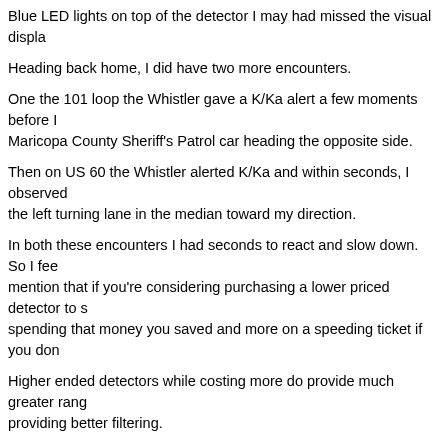Blue LED lights on top of the detector I may had missed the visual displa
Heading back home, I did have two more encounters.
One the 101 loop the Whistler gave a K/Ka alert a few moments before I Maricopa County Sheriff’s Patrol car heading the opposite side.
Then on US 60 the Whistler alerted K/Ka and within seconds, I observed the left turning lane in the median toward my direction.
In both these encounters I had seconds to react and slow down. So I feel mention that if you’re considering purchasing a lower priced detector to s spending that money you saved and more on a speeding ticket if you don
Higher ended detectors while costing more do provide much greater rang providing better filtering.
Given the overall price of this detector I feel that it performed admirably, detector that I would count on if I was one to drive over the 10 M.P.H. po
Radar Roy’s Badge Rating – Two Badges
[Figure (illustration): Four gold star badge images labeled Roy's Gold Star displayed in a row]
Tags: Whistler Radar Detector